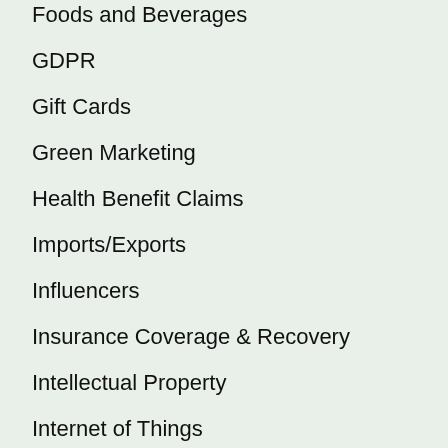Foods and Beverages
GDPR
Gift Cards
Green Marketing
Health Benefit Claims
Imports/Exports
Influencers
Insurance Coverage & Recovery
Intellectual Property
Internet of Things
Kelley Drye
Lead Generation
Legislation